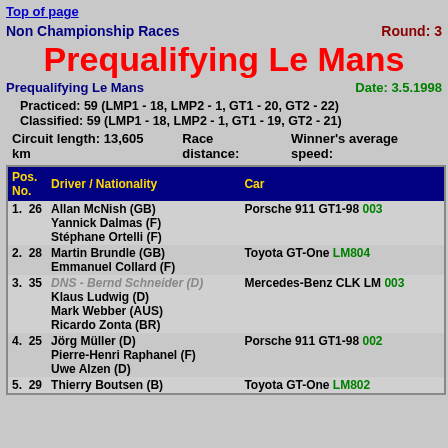Top of page
Non Championship Races    Round: 3
Prequalifying Le Mans
Prequalifying Le Mans    Date: 3.5.1998
Practiced: 59 (LMP1 - 18, LMP2 - 1, GT1 - 20, GT2 - 22)
Classified: 59 (LMP1 - 18, LMP2 - 1, GT1 - 19, GT2 - 21)
Circuit length: 13,605 km    Race distance:    Winner's average speed:
| Pos. | No. | Driver / Nationality | Car |
| --- | --- | --- | --- |
| 1. | 26 | Allan McNish (GB)
Yannick Dalmas (F)
Stéphane Ortelli (F) | Porsche 911 GT1-98 003 |
| 2. | 28 | Martin Brundle (GB)
Emmanuel Collard (F) | Toyota GT-One LM804 |
| 3. | 35 | DNS - Bernd Schneider (D)
Klaus Ludwig (D)
Mark Webber (AUS)
Ricardo Zonta (BR) | Mercedes-Benz CLK LM 003 |
| 4. | 25 | Jörg Müller (D)
Pierre-Henri Raphanel (F)
Uwe Alzen (D) | Porsche 911 GT1-98 002 |
| 5. | 29 | Thierry Boutsen (B) | Toyota GT-One LM802 |